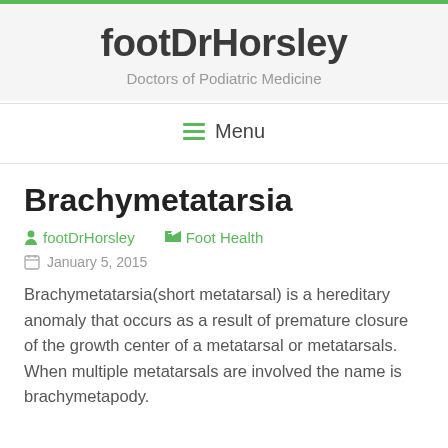footDrHorsley
Doctors of Podiatric Medicine
Menu
Brachymetatarsia
footDrHorsley   Foot Health
January 5, 2015
Brachymetatarsia(short metatarsal) is a hereditary anomaly that occurs as a result of premature closure of the growth center of a metatarsal or metatarsals. When multiple metatarsals are involved the name is brachymetapody.